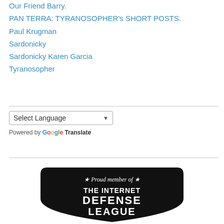Our Friend Barry.
PAN TERRA: TYRANOSOPHER's SHORT POSTS.
Paul Krugman
Sardonicky
Sardonicky Karen Garcia
Tyranosopher
[Figure (screenshot): Google Translate widget with 'Select Language' dropdown]
[Figure (logo): Proud member of THE INTERNET DEFENSE LEAGUE badge — black shield shape with white text and stars]